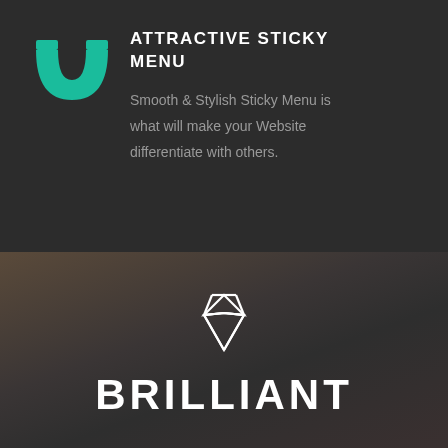[Figure (logo): Teal magnet-shaped U logo icon]
ATTRACTIVE STICKY MENU
Smooth & Stylish Sticky Menu is what will make your Website differentiate with others.
[Figure (illustration): Dark atmospheric cityscape background with a white diamond/gem outline icon centered above the word BRILLIANT]
BRILLIANT